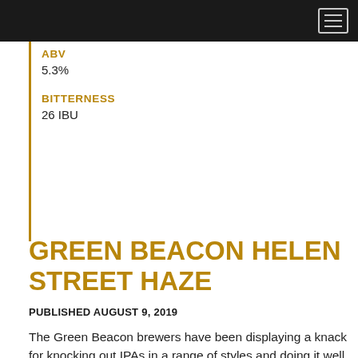ABV
5.3%
BITTERNESS
26 IBU
GREEN BEACON HELEN STREET HAZE
PUBLISHED AUGUST 9, 2019
The Green Beacon brewers have been displaying a knack for knocking out IPAs in a range of styles and doing it well. There have been red, black, double, hazy and other variants in recent times and it's to the world of the hazy here we go – enter this beauty.